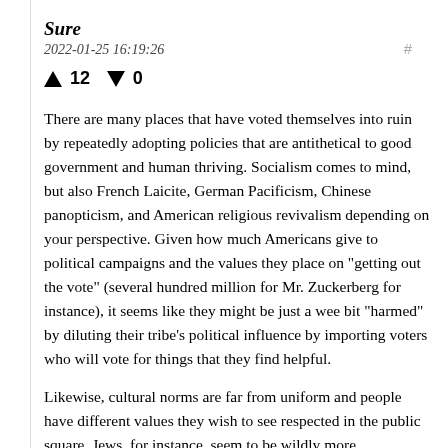Sure
2022-01-25 16:19:26
▲ 12 ▼ 0
There are many places that have voted themselves into ruin by repeatedly adopting policies that are antithetical to good government and human thriving. Socialism comes to mind, but also French Laicite, German Pacificism, Chinese panopticism, and American religious revivalism depending on your perspective. Given how much Americans give to political campaigns and the values they place on "getting out the vote" (several hundred million for Mr. Zuckerberg for instance), it seems like they might be just a wee bit "harmed" by diluting their tribe's political influence by importing voters who will vote for things that they find helpful.
Likewise, cultural norms are far from uniform and people have different values they wish to see respected in the public square. Jews, for instance, seem to be wildly more